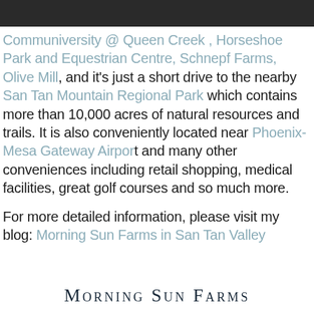Communiversity @ Queen Creek , Horseshoe Park and Equestrian Centre,  Schnepf Farms,  Olive Mill, and it's  just a short drive to the nearby San Tan Mountain Regional Park which contains more than 10,000 acres of natural resources and trails. It is also conveniently located near Phoenix-Mesa Gateway Airport and many other conveniences including retail shopping, medical facilities, great golf courses and so much more.

For more detailed information, please visit my blog: Morning Sun Farms in San Tan Valley
Morning Sun Farms